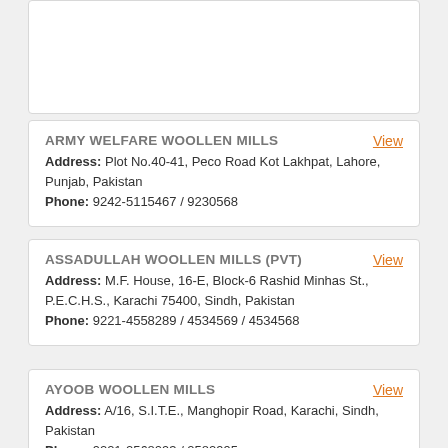ARMY WELFARE WOOLLEN MILLS
Address: Plot No.40-41, Peco Road Kot Lakhpat, Lahore, Punjab, Pakistan
Phone: 9242-5115467 / 9230568
ASSADULLAH WOOLLEN MILLS (PVT)
Address: M.F. House, 16-E, Block-6 Rashid Minhas St., P.E.C.H.S., Karachi 75400, Sindh, Pakistan
Phone: 9221-4558289 / 4534569 / 4534568
AYOOB WOOLLEN MILLS
Address: A/16, S.I.T.E., Manghopir Road, Karachi, Sindh, Pakistan
Phone: 9221-2568093 / 2582995